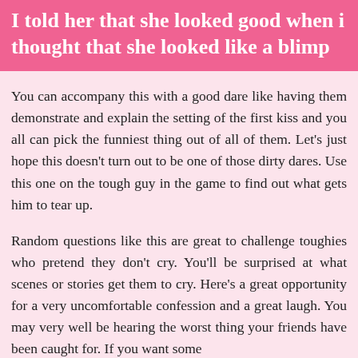I told her that she looked good when i thought that she looked like a blimp
You can accompany this with a good dare like having them demonstrate and explain the setting of the first kiss and you all can pick the funniest thing out of all of them. Let's just hope this doesn't turn out to be one of those dirty dares. Use this one on the tough guy in the game to find out what gets him to tear up.
Random questions like this are great to challenge toughies who pretend they don't cry. You'll be surprised at what scenes or stories get them to cry. Here's a great opportunity for a very uncomfortable confession and a great laugh. You may very well be hearing the worst thing your friends have been caught for. If you want some